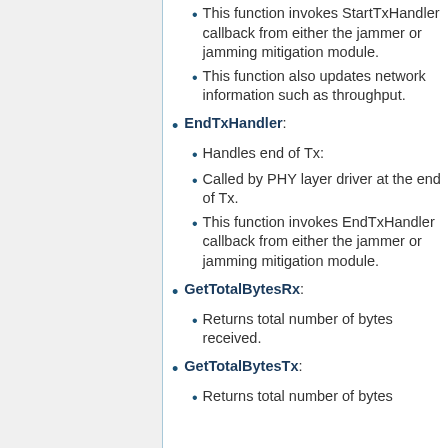This function invokes StartTxHandler callback from either the jammer or jamming mitigation module.
This function also updates network information such as throughput.
EndTxHandler:
Handles end of Tx:
Called by PHY layer driver at the end of Tx.
This function invokes EndTxHandler callback from either the jammer or jamming mitigation module.
GetTotalBytesRx:
Returns total number of bytes received.
GetTotalBytesTx:
Returns total number of bytes